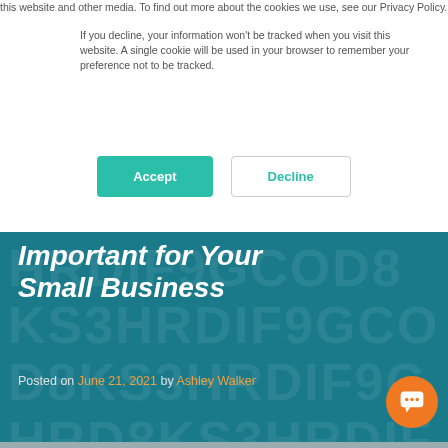this website and other media. To find out more about the cookies we use, see our Privacy Policy.
If you decline, your information won't be tracked when you visit this website. A single cookie will be used in your browser to remember your preference not to be tracked.
Accept | Decline
Important for Your Small Business
Posted on June 21, 2021 by Ashley Walker
[Figure (photo): Photo of a smiling woman in a business/restaurant setting]